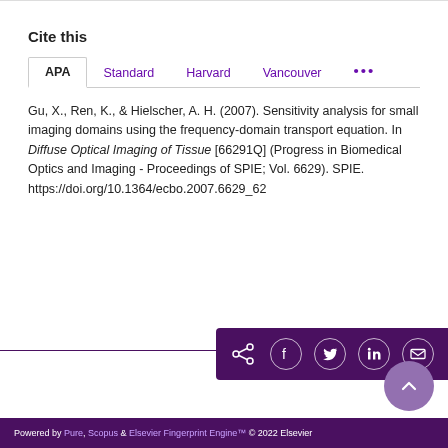Cite this
APA   Standard   Harvard   Vancouver   ...
Gu, X., Ren, K., & Hielscher, A. H. (2007). Sensitivity analysis for small imaging domains using the frequency-domain transport equation. In Diffuse Optical Imaging of Tissue [66291Q] (Progress in Biomedical Optics and Imaging - Proceedings of SPIE; Vol. 6629). SPIE. https://doi.org/10.1364/ecbo.2007.6629_62
[Figure (other): Share bar with social icons: share, Facebook, Twitter, LinkedIn, email]
Powered by Pure, Scopus & Elsevier Fingerprint Engine™ © 2022 Elsevier